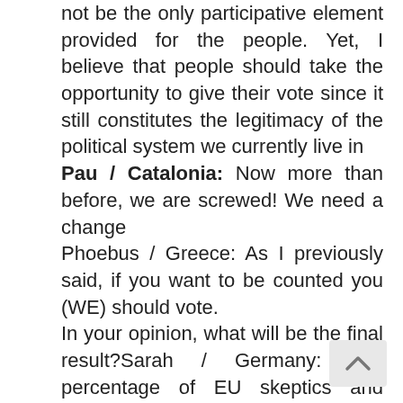not be the only participative element provided for the people. Yet, I believe that people should take the opportunity to give their vote since it still constitutes the legitimacy of the political system we currently live in
Pau / Catalonia: Now more than before, we are screwed! We need a change
Phoebus / Greece: As I previously said, if you want to be counted you (WE) should vote.
In your opinion, what will be the final result?Sarah / Germany: The percentage of EU skeptics and those even declining it will increase. I think that the conservatives will gain power and that populist and right wing parties will do, as well.
Pau / Catalonia: Per desgracia crec